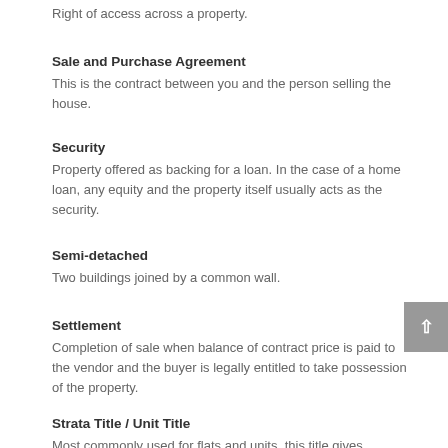Right of access across a property.
Sale and Purchase Agreement
This is the contract between you and the person selling the house.
Security
Property offered as backing for a loan. In the case of a home loan, any equity and the property itself usually acts as the security.
Semi-detached
Two buildings joined by a common wall.
Settlement
Completion of sale when balance of contract price is paid to the vendor and the buyer is legally entitled to take possession of the property.
Strata Title / Unit Title
Most commonly used for flats and units, this title gives